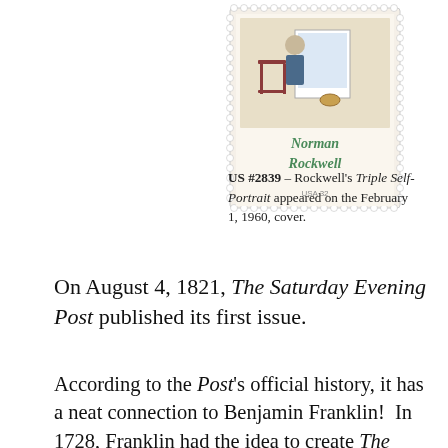[Figure (illustration): A US postage stamp #2839 featuring Norman Rockwell's Triple Self-Portrait artwork, showing a figure painting at an easel with 'Norman Rockwell' lettered in decorative green text on the stamp, with a perforated border.]
US #2839 – Rockwell's Triple Self-Portrait appeared on the February 1, 1960, cover.
On August 4, 1821, The Saturday Evening Post published its first issue.
According to the Post's official history, it has a neat connection to Benjamin Franklin!  In 1728, Franklin had the idea to create The Pennsylvania Gazette, an informative magazine. However, before he had a chance to begin work on the paper, his partner, Samuel